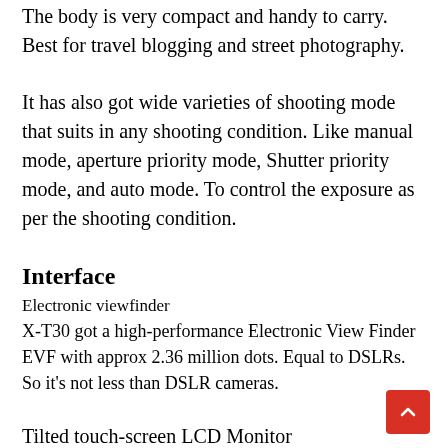The body is very compact and handy to carry. Best for travel blogging and street photography.
It has also got wide varieties of shooting mode that suits in any shooting condition. Like manual mode, aperture priority mode, Shutter priority mode, and auto mode. To control the exposure as per the shooting condition.
Interface
Electronic viewfinder
X-T30 got a high-performance Electronic View Finder EVF with approx 2.36 million dots. Equal to DSLRs. So it’s not less than DSLR cameras.
Tilted touch-screen LCD Monitor